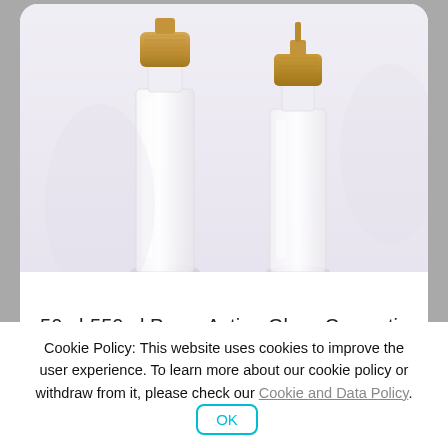[Figure (photo): Frosted glass cosmetic bottles with wooden bamboo caps arranged on a light background. Multiple cylindrical pump action bottles of varying sizes visible from top portion.]
50ml-550ml Pump Action Glass Cosmetic Bottle Transparent Roller Bottle With Wooden Accessories
Cookie Policy: This website uses cookies to improve the user experience. To learn more about our cookie policy or withdraw from it, please check our Cookie and Data Policy. OK